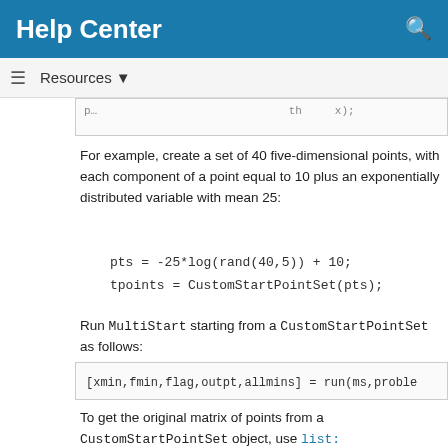Help Center
Resources ▼
For example, create a set of 40 five-dimensional points, with each component of a point equal to 10 plus an exponentially distributed variable with mean 25:
pts = -25*log(rand(40,5)) + 10;
tpoints = CustomStartPointSet(pts);
Run MultiStart starting from a CustomStartPointSet as follows:
[xmin,fmin,flag,outpt,allmins] = run(ms,proble
To get the original matrix of points from a CustomStartPointSet object, use list:
pts = list(tpoints); % Assumes tpoints is a Cu
A CustomStartPointSet has two properties: